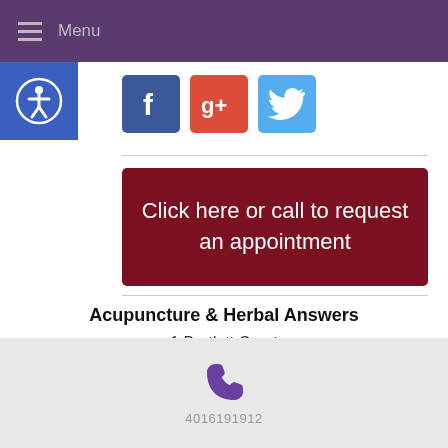Menu
[Figure (screenshot): Social media icons: Facebook (blue), Google+ (red), Twitter (light blue)]
Click here or call to request an appointment
Acupuncture & Herbal Answers
1 Bartlett Court
Newport, RI 02840
401-619-1912
| Mon | No patient hours |
| --- | --- |
4016191912